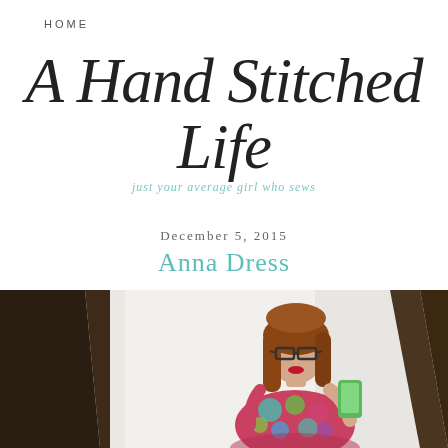HOME
A Hand Stitched Life
just your average girl who sews
December 5, 2015
Anna Dress
[Figure (photo): Woman taking a mirror selfie wearing a colorful floral dress, holding a green smartphone, wearing glasses, with long auburn hair. Dark wood mirror frame visible on left and right sides.]